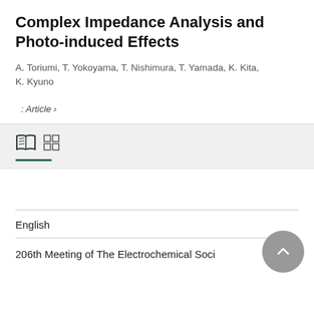Complex Impedance Analysis and Photo-induced Effects
A. Toriumi, T. Yokoyama, T. Nishimura, T. Yamada, K. Kita, K. Kyuno
: Article ›
[Figure (other): Book/library icon and grid icon in a light grey toolbar section with a dark green underline indicator bar]
English
206th Meeting of The Electrochemical Soci